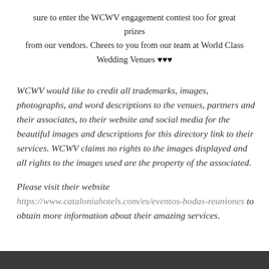sure to enter the WCWV engagement contest too for great prizes from our vendors. Cheers to you from our team at World Class Wedding Venues ♥♥♥
WCWV would like to credit all trademarks, images, photographs, and word descriptions to the venues, partners and their associates, to their website and social media for the beautiful images and descriptions for this directory link to their services. WCWV claims no rights to the images displayed and all rights to the images used are the property of the associated.
Please visit their website https://www.cataloniahotels.com/es/eventos-bodas-reuniones to obtain more information about their amazing services.